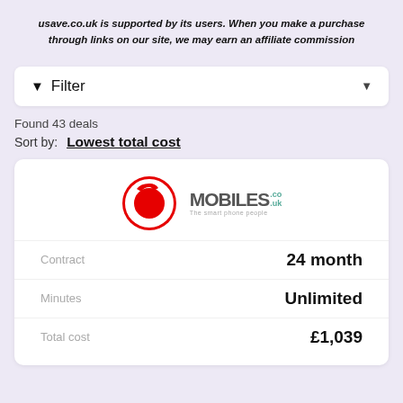usave.co.uk is supported by its users. When you make a purchase through links on our site, we may earn an affiliate commission
Filter
Found 43 deals
Sort by: Lowest total cost
[Figure (logo): Vodafone red circle logo next to Mobiles.co.uk logo with tagline 'The smart phone people']
|  |  |
| --- | --- |
| Contract | 24 month |
| Minutes | Unlimited |
| Total cost | £1,039 |